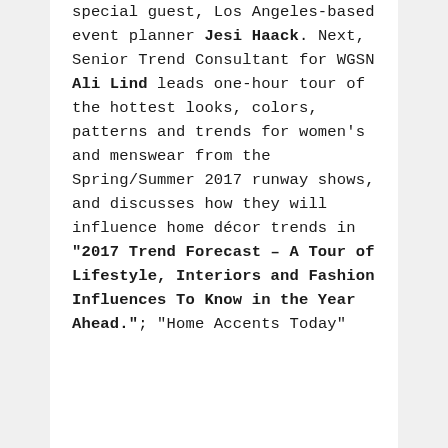special guest, Los Angeles-based event planner Jesi Haack. Next, Senior Trend Consultant for WGSN Ali Lind leads one-hour tour of the hottest looks, colors, patterns and trends for women's and menswear from the Spring/Summer 2017 runway shows, and discusses how they will influence home décor trends in "2017 Trend Forecast – A Tour of Lifestyle, Interiors and Fashion Influences To Know in the Year Ahead."; "Home Accents Today"